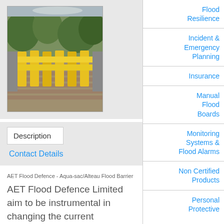[Figure (photo): Photo of flood barrier/flood gate deployed across a driveway or road, showing yellow barriers and surrounding greenery/trees]
Description
Contact Details
AET Flood Defence - Aqua-sac/Alteau Flood Barrier
AET Flood Defence Limited aim to be instrumental in changing the current procedures and mindset surrounding the rapid deployment of flood defence
Flood Resilience
Incident & Emergency Planning
Insurance
Manual Flood Boards
Monitoring Systems & Flood Alarms
Non Certified Products
Personal Protective